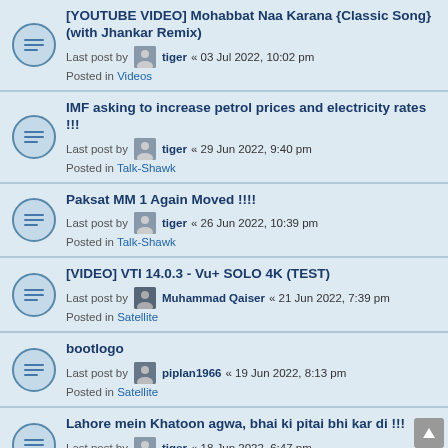[YOUTUBE VIDEO] Mohabbat Naa Karana {Classic Song} (with Jhankar Remix) | Last post by tiger « 03 Jul 2022, 10:02 pm | Posted in Videos
IMF asking to increase petrol prices and electricity rates !!! | Last post by tiger « 29 Jun 2022, 9:40 pm | Posted in Talk-Shawk
Paksat MM 1 Again Moved !!!! | Last post by tiger « 26 Jun 2022, 10:39 pm | Posted in Talk-Shawk
[VIDEO] VTI 14.0.3 - Vu+ SOLO 4K (TEST) | Last post by Muhammad Qaiser « 21 Jun 2022, 7:39 pm | Posted in Satellite
bootlogo | Last post by piplan1966 « 19 Jun 2022, 8:13 pm | Posted in Satellite
Lahore mein Khatoon agwa, bhai ki pitai bhi kar di !!! | Last post by tiger « 18 Jun 2022, 6:47 pm | Posted in Talk-Shawk